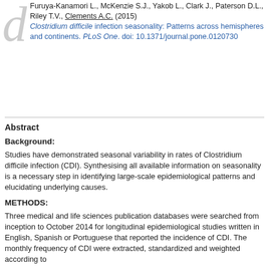Furuya-Kanamori L., McKenzie S.J., Yakob L., Clark J., Paterson D.L., Riley T.V., Clements A.C. (2015) Clostridium difficile infection seasonality: Patterns across hemispheres and continents. PLoS One. doi: 10.1371/journal.pone.0120730
Abstract
Background:
Studies have demonstrated seasonal variability in rates of Clostridium difficile infection (CDI). Synthesising all available information on seasonality is a necessary step in identifying large-scale epidemiological patterns and elucidating underlying causes.
METHODS:
Three medical and life sciences publication databases were searched from inception to October 2014 for longitudinal epidemiological studies written in English, Spanish or Portuguese that reported the incidence of CDI. The monthly frequency of CDI were extracted, standardized and weighted according to